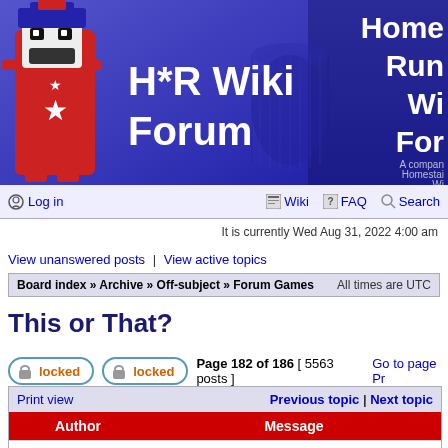[Figure (illustration): H*R Wiki Forum banner with mascot character (Strong Bad-like figure) on left, large white text 'H*R Wiki Forum' in center, and 'Homestar Runner Wiki Forum' title on right with subtitle 'A companion to the Homestar Runner Wiki']
Log in | Wiki | FAQ | Search
It is currently Wed Aug 31, 2022 4:00 am
View unanswered posts | View active topics
Board index » Archive » Off-subject » Forum Games    All times are UTC
This or That?
locked  locked  Page 182 of 186  [ 5563 posts ]  Go to page Pr
| Author | Message |
| --- | --- |
| Pop_tire1 | Post subject: Re: This or That?
Posted: Mon Jun 30, 2008 4:41 am |